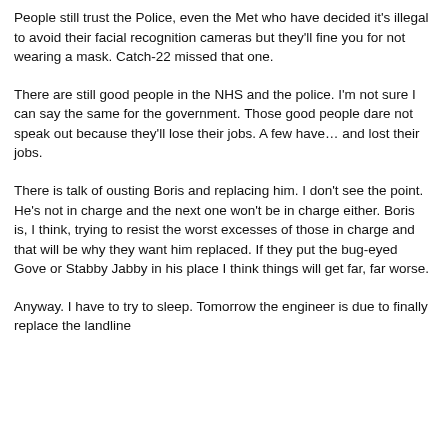People still trust the Police, even the Met who have decided it's illegal to avoid their facial recognition cameras but they'll fine you for not wearing a mask. Catch-22 missed that one.
There are still good people in the NHS and the police. I'm not sure I can say the same for the government. Those good people dare not speak out because they'll lose their jobs. A few have… and lost their jobs.
There is talk of ousting Boris and replacing him. I don't see the point. He's not in charge and the next one won't be in charge either. Boris is, I think, trying to resist the worst excesses of those in charge and that will be why they want him replaced. If they put the bug-eyed Gove or Stabby Jabby in his place I think things will get far, far worse.
Anyway. I have to try to sleep. Tomorrow the engineer is due to finally replace the landline